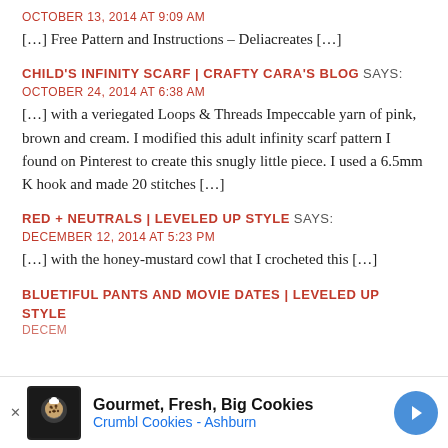OCTOBER 13, 2014 AT 9:09 AM
[…] Free Pattern and Instructions – Deliacreates […]
CHILD'S INFINITY SCARF | CRAFTY CARA'S BLOG SAYS:
OCTOBER 24, 2014 AT 6:38 AM
[…] with a veriegated Loops & Threads Impeccable yarn of pink, brown and cream. I modified this adult infinity scarf pattern I found on Pinterest to create this snugly little piece. I used a 6.5mm K hook and made 20 stitches […]
RED + NEUTRALS | LEVELED UP STYLE SAYS:
DECEMBER 12, 2014 AT 5:23 PM
[…] with the honey-mustard cowl that I crocheted this […]
BLUETIFUL PANTS AND MOVIE DATES | LEVELED UP STYLE
DECEM…
[Figure (infographic): Advertisement banner for Crumbl Cookies - Ashburn. Shows cookie logo, text 'Gourmet, Fresh, Big Cookies' and 'Crumbl Cookies - Ashburn', blue navigation arrow icon.]